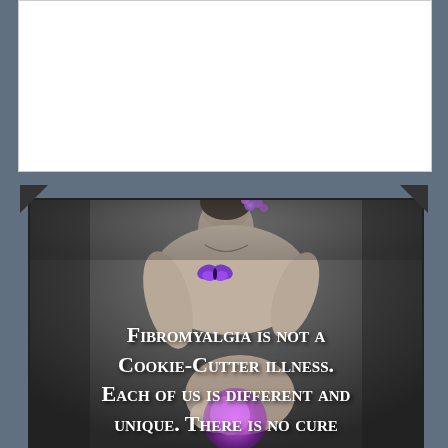[Figure (photo): A grayscale photo of a woman with her back turned, looking down, with a purple butterfly tattoo on her shoulder blade, holding a glowing purple orb. Purple flowers in her hair. Decorative corner fold elements on upper corners of the image frame. Text overlay with a quote about Fibromyalgia.]
Fibromyalgia is not a Cookie-Cutter illness. Each of us is different and unique. There is no cure